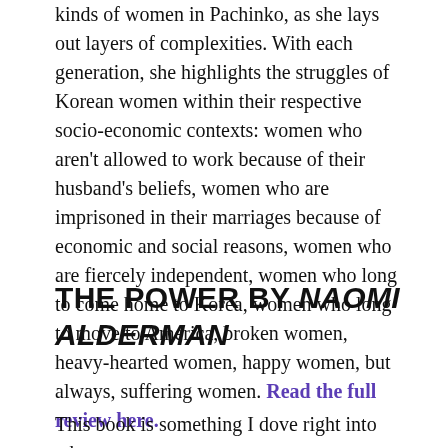kinds of women in Pachinko, as she lays out layers of complexities. With each generation, she highlights the struggles of Korean women within their respective socio-economic contexts: women who aren't allowed to work because of their husband's beliefs, women who are imprisoned in their marriages because of economic and social reasons, women who are fiercely independent, women who long to come home to Korea, women who long to move to America, broken women, heavy-hearted women, happy women, but always, suffering women. Read the full review here.
THE POWER BY NAOMI ALDERMAN
This book is something I dove right into where men are